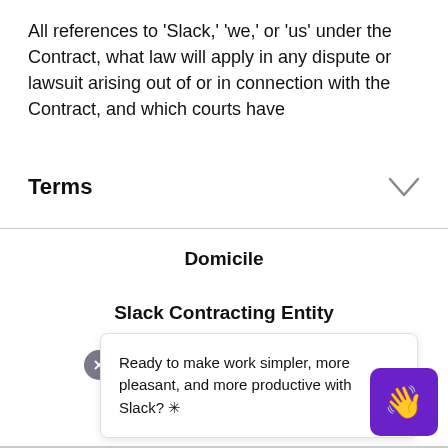All references to 'Slack,' 'we,' or 'us' under the Contract, what law will apply in any dispute or lawsuit arising out of or in connection with the Contract, and which courts have
Terms
Domicile
Slack Contracting Entity
Governing Law
Ready to make work simpler, more pleasant, and more productive with Slack? ✳